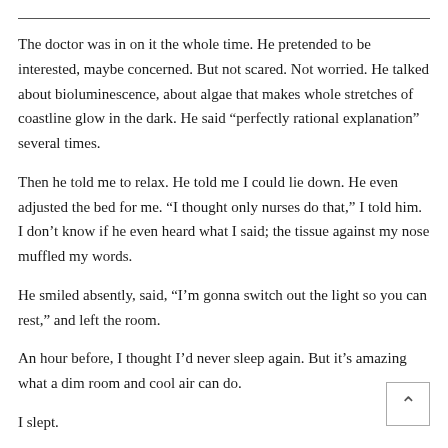The doctor was in on it the whole time. He pretended to be interested, maybe concerned. But not scared. Not worried. He talked about bioluminescence, about algae that makes whole stretches of coastline glow in the dark. He said “perfectly rational explanation” several times.
Then he told me to relax. He told me I could lie down. He even adjusted the bed for me. “I thought only nurses do that,” I told him. I don’t know if he even heard what I said; the tissue against my nose muffled my words.
He smiled absently, said, “I’m gonna switch out the light so you can rest,” and left the room.
An hour before, I thought I’d never sleep again. But it’s amazing what a dim room and cool air can do.
I slept.
I dreamed.